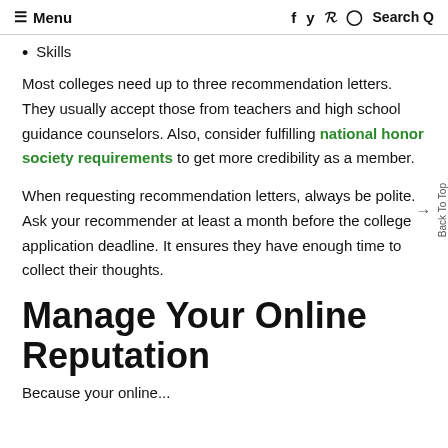≡ Menu   f  y  p  ⊙  Search Q
Skills
Most colleges need up to three recommendation letters. They usually accept those from teachers and high school guidance counselors. Also, consider fulfilling national honor society requirements to get more credibility as a member.
When requesting recommendation letters, always be polite. Ask your recommender at least a month before the college application deadline. It ensures they have enough time to collect their thoughts.
Manage Your Online Reputation
Because your online ...